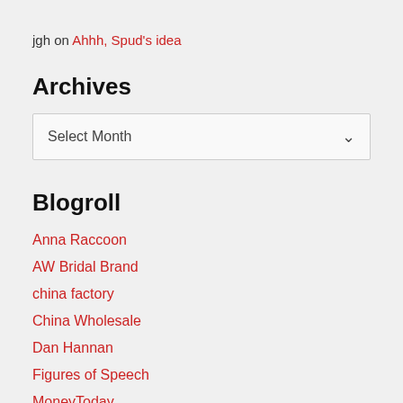jgh on Ahhh, Spud's idea
Archives
Select Month
Blogroll
Anna Raccoon
AW Bridal Brand
china factory
China Wholesale
Dan Hannan
Figures of Speech
MoneyToday
Retirement Expert